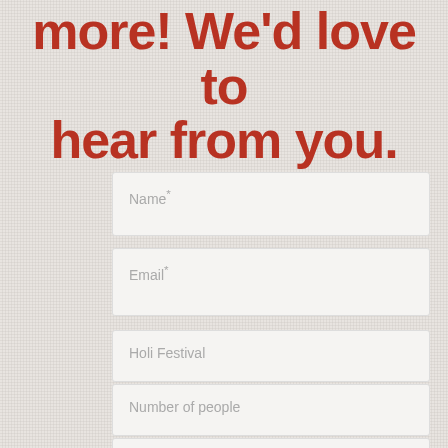more! We'd love to hear from you.
Name*
Email*
Holi Festival
Number of people
Message*